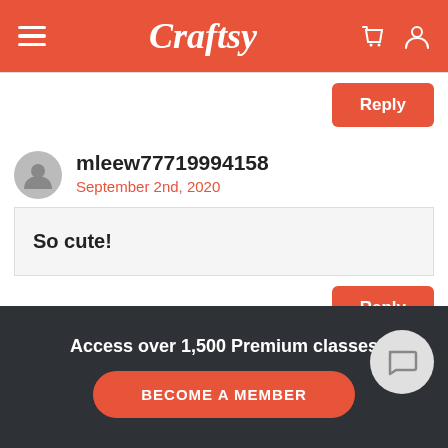Craftsy
Reply
mleew77719994158
September 2nd, 2020
So cute!
Reply
Access over 1,500 Premium classes
BECOME A MEMBER